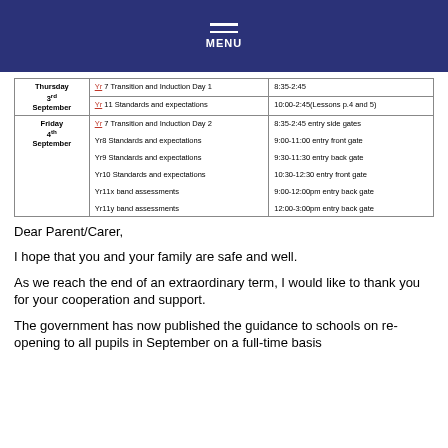MENU
| Day | Activity | Time |
| --- | --- | --- |
| Thursday 3rd September | Yr 7 Transition and Induction Day 1 | 8:35-2:45 |
| Thursday 3rd September | Yr 11 Standards and expectations | 10:00-2:45(Lessons p.4 and 5) |
| Friday 4th September | Yr 7 Transition and Induction Day 2 | 8:35-2:45 entry side gates |
| Friday 4th September | Yr8 Standards and expectations | 9:00-11:00 entry front gate |
| Friday 4th September | Yr9 Standards and expectations | 9:30-11:30 entry back gate |
| Friday 4th September | Yr10 Standards and expectations | 10:30-12:30 entry front gate |
| Friday 4th September | Yr11x band assessments | 9:00-12:00pm entry back gate |
| Friday 4th September | Yr11y band assessments | 12:00-3:00pm entry back gate |
Dear Parent/Carer,
I hope that you and your family are safe and well.
As we reach the end of an extraordinary term, I would like to thank you for your cooperation and support.
The government has now published the guidance to schools on re-opening to all pupils in September on a full-time basis